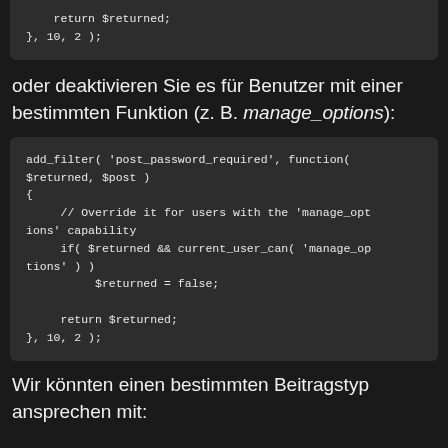[Figure (screenshot): Code block (top, partial): return $returned; }, 10, 2 );]
oder deaktivieren Sie es für Benutzer mit einer bestimmten Funktion (z. B. manage_options):
[Figure (screenshot): Code block: add_filter( 'post_password_required', function( $returned, $post ) { // Override it for users with the 'manage_options' capability if( $returned && current_user_can( 'manage_options' ) ) $returned = false; return $returned; }, 10, 2 );]
Wir könnten einen bestimmten Beitragstyp ansprechen mit: